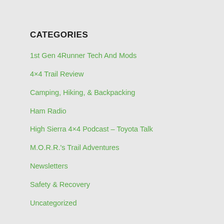CATEGORIES
1st Gen 4Runner Tech And Mods
4×4 Trail Review
Camping, Hiking, & Backpacking
Ham Radio
High Sierra 4×4 Podcast – Toyota Talk
M.O.R.R.'s Trail Adventures
Newsletters
Safety & Recovery
Uncategorized